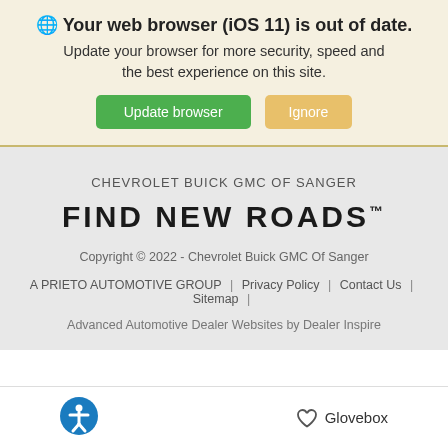🌐 Your web browser (iOS 11) is out of date. Update your browser for more security, speed and the best experience on this site.
Update browser | Ignore
CHEVROLET BUICK GMC OF SANGER
FIND NEW ROADS™
Copyright © 2022 - Chevrolet Buick GMC Of Sanger
A PRIETO AUTOMOTIVE GROUP | Privacy Policy | Contact Us | Sitemap |
Advanced Automotive Dealer Websites by Dealer Inspire
Glovebox